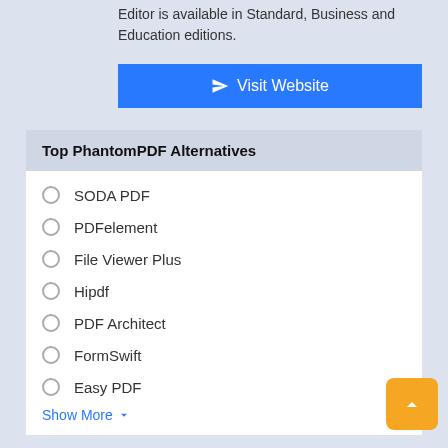Editor is available in Standard, Business and Education editions.
[Figure (other): Blue 'Visit Website' button with paper plane icon]
Top PhantomPDF Alternatives
SODA PDF
PDFelement
File Viewer Plus
Hipdf
PDF Architect
FormSwift
Easy PDF
Show More